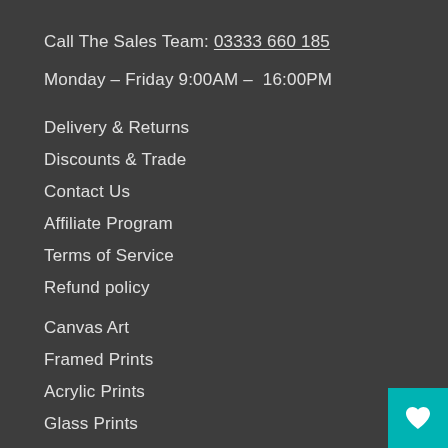Call The Sales Team: 03333 660 185
Monday – Friday 9:00AM – 16:00PM
Delivery & Returns
Discounts & Trade
Contact Us
Affiliate Program
Terms of Service
Refund policy
Canvas Art
Framed Prints
Acrylic Prints
Glass Prints
Metal Prints
Posters